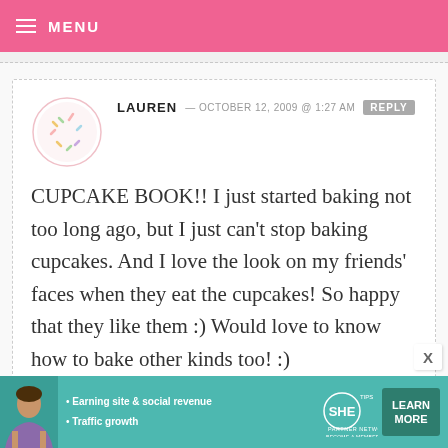MENU
LAUREN — OCTOBER 12, 2009 @ 1:27 AM REPLY
CUPCAKE BOOK!! I just started baking not too long ago, but I just can't stop baking cupcakes. And I love the look on my friends' faces when they eat the cupcakes! So happy that they like them :) Would love to know how to bake other kinds too! :)
[Figure (infographic): Advertisement banner for SHE Partner Network with bullet points: Earning site & social revenue, Traffic growth. Includes a Learn More button.]